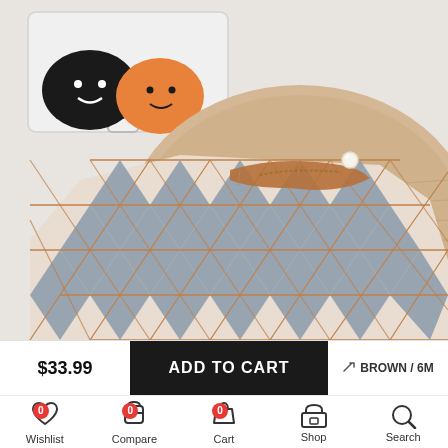[Figure (photo): Product photo of a children's argyle knit sweater in brown/grey/cream diamond pattern laid flat on a wooden serving board. A white storage box with smiley face pads (orange and black) is visible in the upper portion. The sweater has a brown ribbed collar with a small pearl button.]
$33.99
ADD TO CART
BROWN / 6M
Wishlist 0
Compare 0
Cart 0
Shop
Search